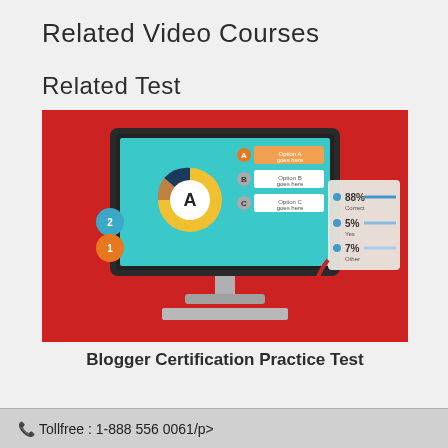Related Video Courses
Related Test
[Figure (illustration): Screenshot of a certification practice test interface shown on a desktop monitor with a red background. The monitor screen displays a multiple choice quiz with options A, B, C and a pie/donut chart showing 88% Correct, 5% Yes, 7% Other. Numbered circles (1 and 2) appear on the left side of the monitor.]
Blogger Certification Practice Test
Tollfree : 1-888 556 0061/p>